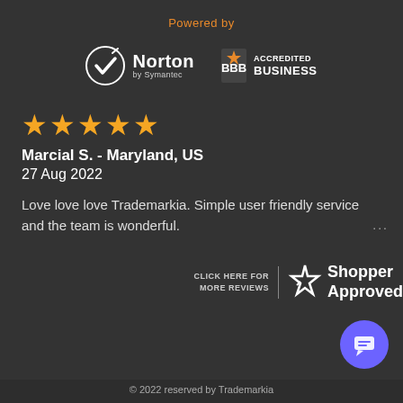Powered by
[Figure (logo): Norton by Symantec logo and BBB Accredited Business logo side by side]
[Figure (infographic): Five orange star rating]
Marcial S.  - Maryland, US
27 Aug 2022
Love love love Trademarkia. Simple user friendly service and the team is wonderful.
[Figure (logo): Shopper Approved logo with CLICK HERE FOR MORE REVIEWS text]
[Figure (illustration): Purple circular chat button]
© 2022 reserved by Trademarkia